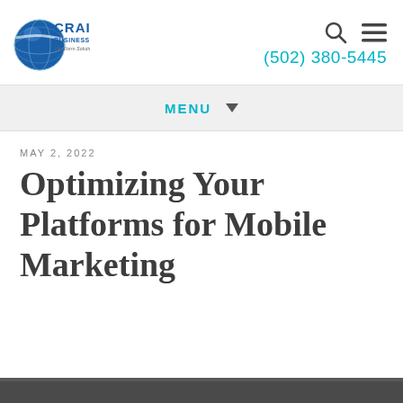[Figure (logo): Craig Business Forms logo with globe graphic and tagline 'We form solutions.']
(502) 380-5445
MENU
MAY 2, 2022
Optimizing Your Platforms for Mobile Marketing
[Figure (photo): Bottom image strip, partially visible photograph]